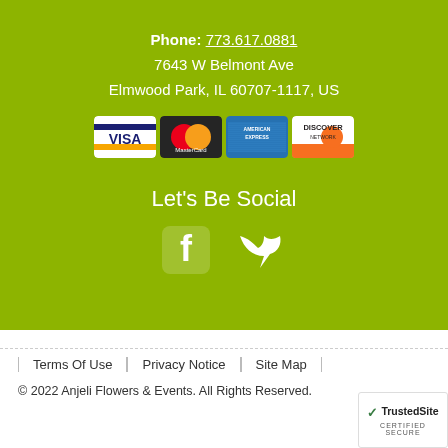Phone: 773.617.0881
7643 W Belmont Ave
Elmwood Park, IL 60707-1117, US
[Figure (illustration): Payment method icons: VISA, MasterCard, American Express, Discover]
Let's Be Social
[Figure (illustration): Social media icons: Facebook and Twitter]
Terms Of Use | Privacy Notice | Site Map
© 2022 Anjeli Flowers & Events. All Rights Reserved.
[Figure (logo): TrustedSite Certified Secure badge]